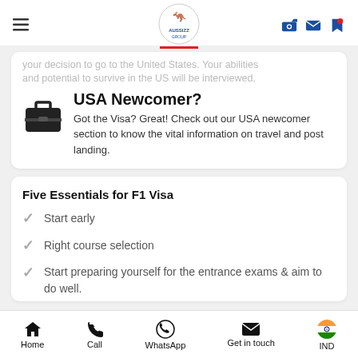Aussizz Group navigation header
your decision to go to the United States. Your abilities and potential to survive in the US will be interviewed.
USA Newcomer?
Got the Visa? Great! Check out our USA newcomer section to know the vital information on travel and post landing.
Five Essentials for F1 Visa
Start early
Right course selection
Start preparing yourself for the entrance exams & aim to do well.
Home | Call | WhatsApp | Get in touch | IND